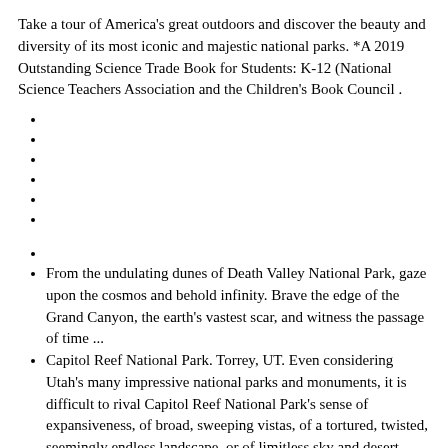Take a tour of America's great outdoors and discover the beauty and diversity of its most iconic and majestic national parks. *A 2019 Outstanding Science Trade Book for Students: K-12 (National Science Teachers Association and the Children's Book Council .
From the undulating dunes of Death Valley National Park, gaze upon the cosmos and behold infinity. Brave the edge of the Grand Canyon, the earth's vastest scar, and witness the passage of time ...
Capitol Reef National Park. Torrey, UT. Even considering Utah's many impressive national parks and monuments, it is difficult to rival Capitol Reef National Park's sense of expansiveness, of broad, sweeping vistas, of a tortured, twisted, seemingly endless landscape, or of limitless sky and desert rock.